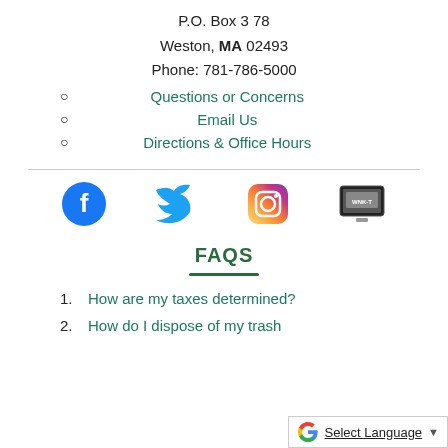P.O. Box 378
Weston, MA 02493
Phone: 781-786-5000
Questions or Concerns
Email Us
Directions & Office Hours
[Figure (logo): Social media icons: Facebook, Twitter, Instagram, and a TV/media icon]
FAQS
How are my taxes determined?
How do I dispose of my trash